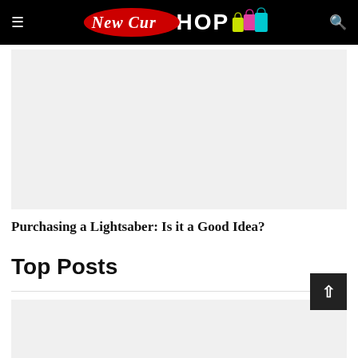≡  New Cur SHOP  🔍
[Figure (photo): Gray placeholder image area below navigation header]
Purchasing a Lightsaber: Is it a Good Idea?
Top Posts
[Figure (photo): Gray placeholder image for top posts section]